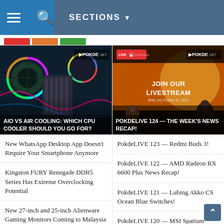SECTIONS
[Figure (screenshot): Screenshot of pokde.net website showing navigation bar, featured article images, and news list]
[Figure (photo): AIO VS AIR COOLING: WHICH CPU COOLER SHOULD YOU GO FOR? - Article thumbnail showing PC cooling components with RGB lighting]
[Figure (photo): POKDELIVE 124 — THE WEEK'S NEWS RECAP! - Livestream thumbnail with JOIN OUR LIVESTREAM text and 8PM October 20, 2021]
New WhatsApp Desktop App Doesn't Require Your Smartphone Anymore
Kingston FURY Renegade DDR5 Series Has Extreme Overclocking Potential
New 27-inch and 25-inch Alienware Gaming Monitors Coming to Malaysia
PokdeLIVE 123 — Redmi Buds 3!
PokdeLIVE 122 — AMD Radeon RX 6600 Plus News Recap!
PokdeLIVE 121 — Lubing Akko CS Ocean Blue Switches!
PokdeLIVE 120 — MSI Spatium M480 SSD!